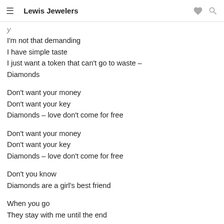Lewis Jewelers
I'm not that demanding
I have simple taste
I just want a token that can't go to waste –
Diamonds
Don't want your money
Don't want your key
Diamonds – love don't come for free
Don't want your money
Don't want your key
Diamonds – love don't come for free
Don't you know
Diamonds are a girl's best friend
When you go
They stay with me until the end